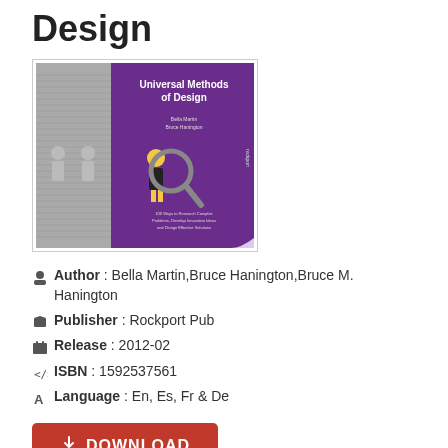Design
[Figure (photo): Book cover of 'Universal Methods of Design' by Bella Martin and Bruce Hanington, featuring a purple and gray design with a magnifying glass over a figure illustration]
Author : Bella Martin,Bruce Hanington,Bruce M. Hanington
Publisher : Rockport Pub
Release : 2012-02
ISBN : 1592537561
Language : En, Es, Fr & De
DOWNLOAD